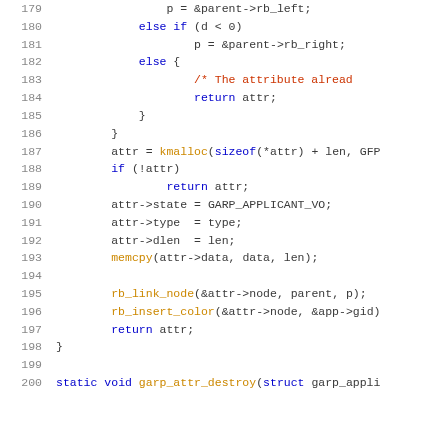[Figure (screenshot): Source code listing in C, lines 179-200, showing a function with red-black tree operations and attribute initialization. Syntax highlighted with blue keywords, orange function names, red comments, and dark text for identifiers.]